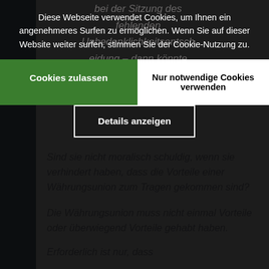bei der Sitzung des ... fehlenden ... Unbedenklichkeitsentscheidung – dann könnte ... Sitzungsstellsohn ... die Frage gestellt worden:
Diese Webseite verwendet Cookies, um Ihnen ein angenehmeres Surfen zu ermöglichen. Wenn Sie auf dieser Website weiter surfen, stimmen Sie der Cookie-Nutzung zu.
Cookies zulassen
Nur notwendige Cookies verwenden
Details anzeigen
Sind sie nicht moralisch schuldig, wenn sie verhindert haben, dass die Vorteile einer Währungsunion zum Tragen gekommen sind?
Die Währungsunion muss nicht einmal Vorteile oder überwiegend Vorteile gehabt haben.
Erforderlich ist nur, dass